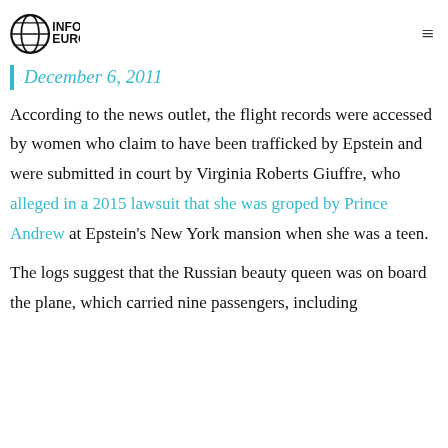INFOWARS EUROPE
December 6, 2011
According to the news outlet, the flight records were accessed by women who claim to have been trafficked by Epstein and were submitted in court by Virginia Roberts Giuffre, who alleged in a 2015 lawsuit that she was groped by Prince Andrew at Epstein's New York mansion when she was a teen.
The logs suggest that the Russian beauty queen was on board the plane, which carried nine passengers, including